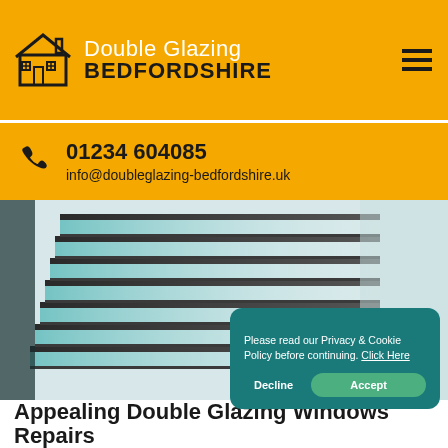Double Glazing BEDFORDSHIRE
01234 604085
info@doubleglazing-bedfordshire.uk
[Figure (photo): Stacked double glazing glass panels viewed at an angle, showing teal/green tinted glass panes with spacer bars]
Please read our Privacy & Cookie Policy before continuing. Click Here
Decline | Accept
Appealing Double Glazing Windows Repairs